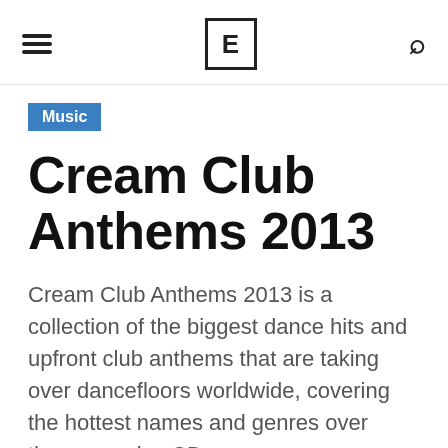≡  E  🔍
Music
Cream Club Anthems 2013
Cream Club Anthems 2013 is a collection of the biggest dance hits and upfront club anthems that are taking over dancefloors worldwide, covering the hottest names and genres over three massive CDs.